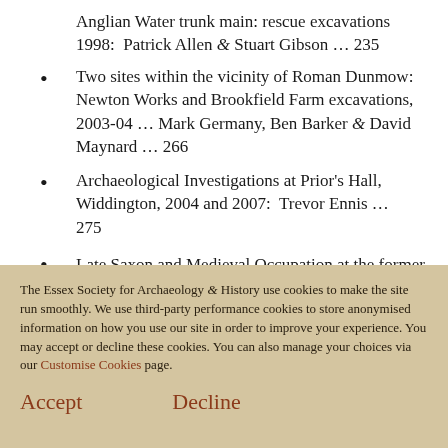Anglian Water trunk main: rescue excavations 1998: Patrick Allen & Stuart Gibson … 235
Two sites within the vicinity of Roman Dunmow: Newton Works and Brookfield Farm excavations, 2003-04 … Mark Germany, Ben Barker & David Maynard … 266
Archaeological Investigations at Prior's Hall, Widdington, 2004 and 2007: Trevor Ennis … 275
Late Saxon and Medieval Occupation at the former Bus Station at 148-152 High Street, Maldon…
The Essex Society for Archaeology & History use cookies to make the site run smoothly. We use third-party performance cookies to store anonymised information on how you use our site in order to improve your experience. You may accept or decline these cookies. You can also manage your choices via our Customise Cookies page.
Accept
Decline